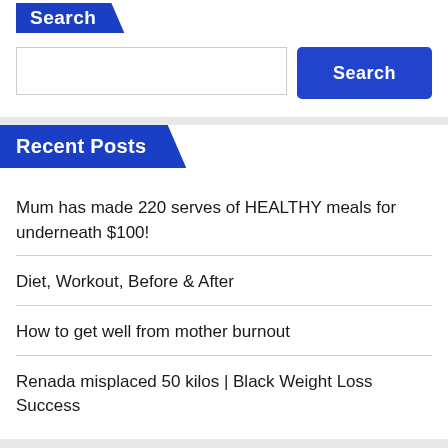Search
Search button
Recent Posts
Mum has made 220 serves of HEALTHY meals for underneath $100!
Diet, Workout, Before & After
How to get well from mother burnout
Renada misplaced 50 kilos | Black Weight Loss Success